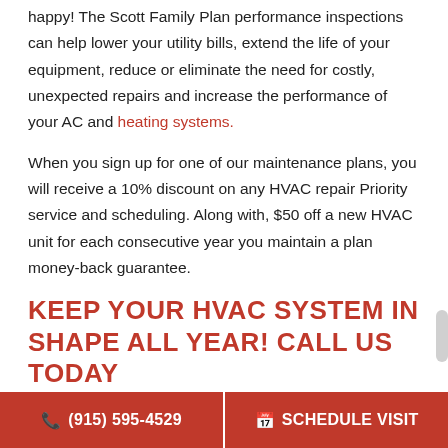happy! The Scott Family Plan performance inspections can help lower your utility bills, extend the life of your equipment, reduce or eliminate the need for costly, unexpected repairs and increase the performance of your AC and heating systems.
When you sign up for one of our maintenance plans, you will receive a 10% discount on any HVAC repair Priority service and scheduling. Along with, $50 off a new HVAC unit for each consecutive year you maintain a plan money-back guarantee.
KEEP YOUR HVAC SYSTEM IN SHAPE ALL YEAR! CALL US TODAY
For the best results from your HVAC system, our maintenance plan is the way to go. Ensure that you're not left in the cold or the harsh heat by keeping your system in tip-top shape. We can repair
(915) 595-4529  SCHEDULE VISIT